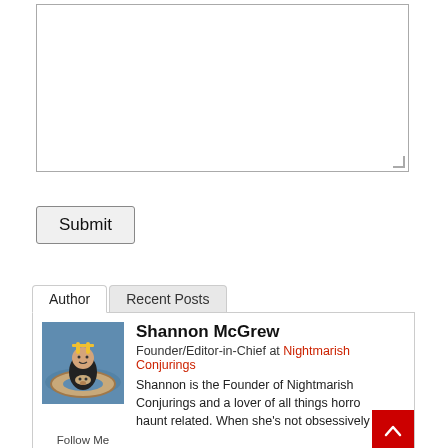[Figure (screenshot): Empty textarea input box with resize handle at bottom right]
Submit
Author | Recent Posts
[Figure (photo): Profile photo of Shannon McGrew in a pool float shaped like a moose/reindeer]
Follow Me
Shannon McGrew
Founder/Editor-in-Chief at Nightmarish Conjurings
Shannon is the Founder of Nightmarish Conjurings and a lover of all things horror haunt related. When she's not obsessively